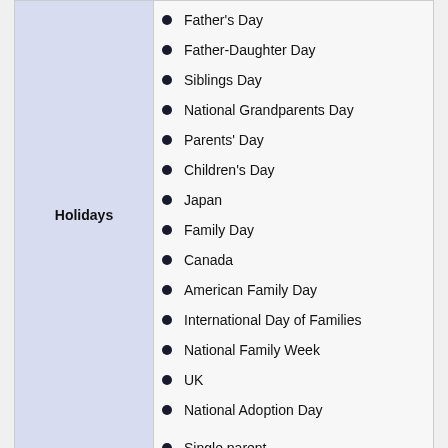Father's Day
Father-Daughter Day
Siblings Day
National Grandparents Day
Parents' Day
Children's Day
Japan
Family Day
Canada
American Family Day
International Day of Families
National Family Week
UK
National Adoption Day
Single parent
Only child
Wedding anniversary